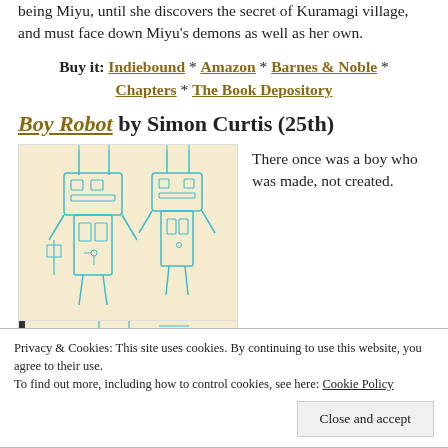being Miyu, until she discovers the secret of Kuramagi village, and must face down Miyu's demons as well as her own.
Buy it: Indiebound * Amazon * Barnes & Noble * Chapters * The Book Depository
Boy Robot by Simon Curtis (25th)
[Figure (illustration): Book cover illustration for Boy Robot showing cyan/turquoise robot figures on a cream/beige background]
There once was a boy who was made, not created.
Privacy & Cookies: This site uses cookies. By continuing to use this website, you agree to their use.
To find out more, including how to control cookies, see here: Cookie Policy
Close and accept